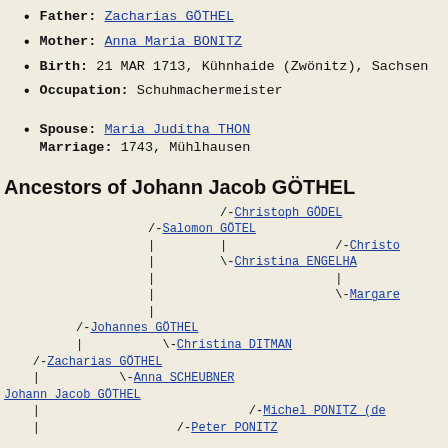Father: Zacharias GÖTHEL
Mother: Anna Maria BONITZ
Birth: 21 MAR 1713, Kühnhaide (Zwönitz), Sachsen
Occupation: Schuhmachermeister
Spouse: Maria Juditha THON
Marriage: 1743, Mühlhausen
Ancestors of Johann Jacob GÖTHEL
[Figure (other): Genealogical ancestor tree showing lineage of Johann Jacob GÖTHEL including ancestors Zacharias GÖTHEL, Johannes GÖTHEL, Salomon GÖTEL, Christoph GÖDEL, Christina ENGELHA..., Margar..., Christina DITMAN, Anna SCHEUBNER, Michel PONITZ (de...), Peter PONITZ]